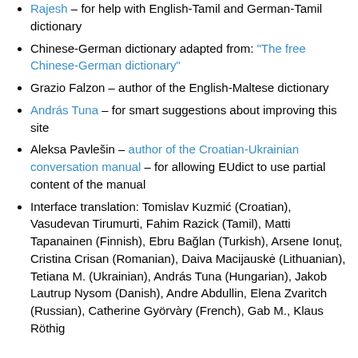Rajesh – for help with English-Tamil and German-Tamil dictionary
Chinese-German dictionary adapted from: "The free Chinese-German dictionary"
Grazio Falzon – author of the English-Maltese dictionary
András Tuna – for smart suggestions about improving this site
Aleksa Pavlešin – author of the Croatian-Ukrainian conversation manual – for allowing EUdict to use partial content of the manual
Interface translation: Tomislav Kuzmić (Croatian), Vasudevan Tirumurti, Fahim Razick (Tamil), Matti Tapanainen (Finnish), Ebru Bağlan (Turkish), Arsene Ionuț, Cristina Crisan (Romanian), Daiva Macijauskė (Lithuanian), Tetiana M. (Ukrainian), András Tuna (Hungarian), Jakob Lautrup Nysom (Danish), Andre Abdullin, Elena Zvaritch (Russian), Catherine Györvàry (French), Gab M., Klaus Röthig